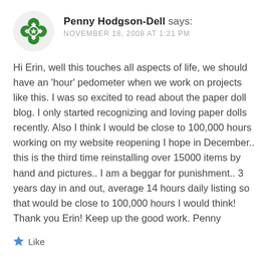[Figure (logo): Green decorative cross/flower avatar icon for user Penny Hodgson-Dell]
Penny Hodgson-Dell says:
NOVEMBER 18, 2008 AT 1:21 PM
Hi Erin, well this touches all aspects of life, we should have an ‘hour’ pedometer when we work on projects like this. I was so excited to read about the paper doll blog. I only started recognizing and loving paper dolls recently. Also I think I would be close to 100,000 hours working on my website reopening I hope in December.. this is the third time reinstalling over 15000 items by hand and pictures.. I am a beggar for punishment.. 3 years day in and out, average 14 hours daily listing so that would be close to 100,000 hours I would think! Thank you Erin! Keep up the good work. Penny
Like